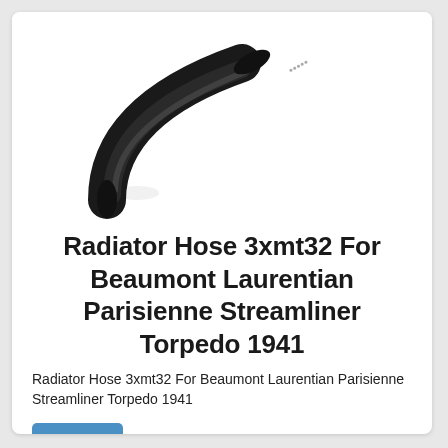[Figure (photo): A black rubber radiator hose bent in a curved/elbow shape, photographed against a white background.]
Radiator Hose 3xmt32 For Beaumont Laurentian Parisienne Streamliner Torpedo 1941
Radiator Hose 3xmt32 For Beaumont Laurentian Parisienne Streamliner Torpedo 1941
$30.53